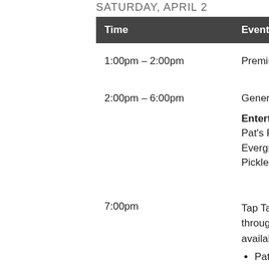SATURDAY, APRIL 2
| Time | Event |
| --- | --- |
| 1:00pm – 2:00pm | Premium Ticket |
| 2:00pm – 6:00pm | General Admissi

Entertainment
Pat's Place Blueg
Evergreen Family
Pickled Holler |
| 7:00pm | Tap Takeover at throughout Ame available on the
• Pat's Place |